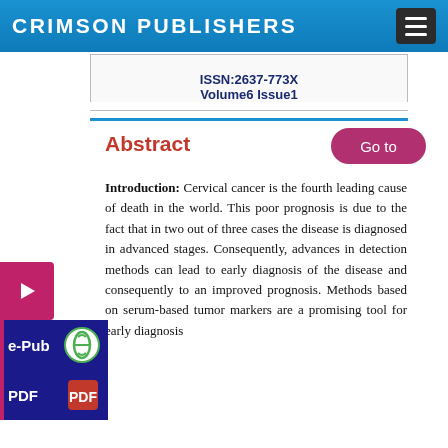CRIMSON PUBLISHERS
ISSN:2637-773X
Volume6 Issue1
Abstract
Introduction: Cervical cancer is the fourth leading cause of death in the world. This poor prognosis is due to the fact that in two out of three cases the disease is diagnosed in advanced stages. Consequently, advances in detection methods can lead to early diagnosis of the disease and consequently to an improved prognosis. Methods based on serum-based tumor markers are a promising tool for early diagnosis